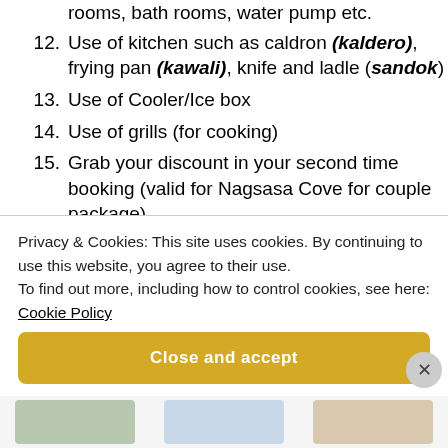rooms, bath rooms, water pump etc.
12. Use of kitchen such as caldron (kaldero), frying pan (kawali), knife and ladle (sandok)
13. Use of Cooler/Ice box
14. Use of grills (for cooking)
15. Grab your discount in your second time booking (valid for Nagsasa Cove for couple package)
16. You will only pay P100.00 per bundle of
Privacy & Cookies: This site uses cookies. By continuing to use this website, you agree to their use.
To find out more, including how to control cookies, see here:
Cookie Policy
Close and accept